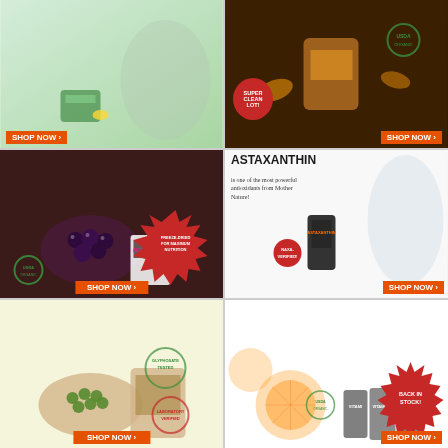[Figure (photo): Organic Greens Superfood Powder ad with woman drinking green smoothie, SHOP NOW button, INFUSED WITH DIGESTIVE ENZYMES badge]
[Figure (photo): Organic Turmeric Root Powder ad with bag product, SUPER CLEAN LOT starburst, SHOP NOW button]
[Figure (photo): Organic Acai Berries ad with bowl of acai berries, FREEZE-DRIED FOR MAXIMUM NUTRITION starburst, ACAI POWDER product, SHOP NOW button]
[Figure (photo): Astaxanthin ad with fit woman and supplement bottle, NAXA-VERIFIED badge, SHOP NOW button]
[Figure (photo): Cleanest Chlorella 200MG Tablets 283g ad with green tablets and bag product, SHOP NOW button]
[Figure (photo): Non-GMO Vitamin C ad with orange slices and vitamin C bottles, BACK IN STOCK starburst, SHOP NOW button]